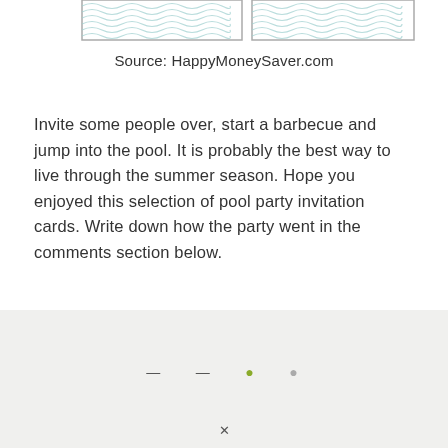[Figure (illustration): Two pool party invitation card thumbnails side by side with wavy blue pattern borders, partially visible at top of page]
Source: HappyMoneySaver.com
Invite some people over, start a barbecue and jump into the pool. It is probably the best way to live through the summer season. Hope you enjoyed this selection of pool party invitation cards. Write down how the party went in the comments section below.
[Figure (screenshot): Bottom section with light gray background, partially visible social sharing or navigation bar with dots and an X symbol]